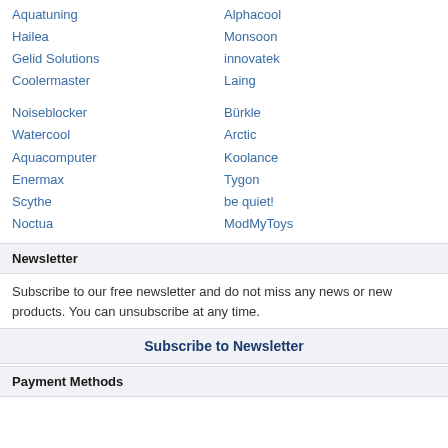Aquatuning
Hailea
Gelid Solutions
Coolermaster
Alphacool
Monsoon
innovatek
Laing
Noiseblocker
Watercool
Aquacomputer
Enermax
Scythe
Noctua
Bürkle
Arctic
Koolance
Tygon
be quiet!
ModMyToys
Newsletter
Subscribe to our free newsletter and do not miss any news or new products. You can unsubscribe at any time.
Subscribe to Newsletter
Payment Methods
Shipping options